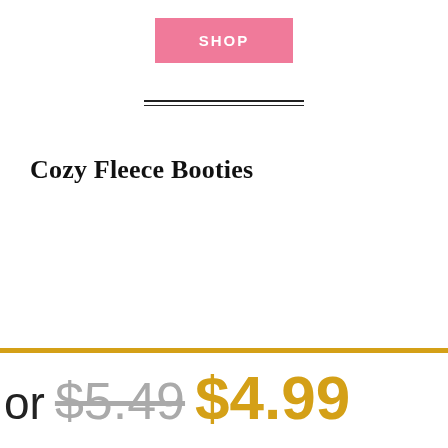SHOP
Cozy Fleece Booties
or $5.49 $4.99